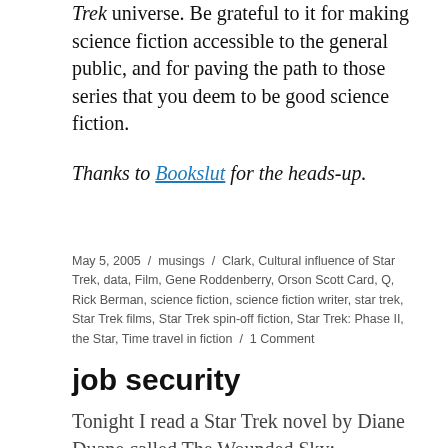Trek universe. Be grateful to it for making science fiction accessible to the general public, and for paving the path to those series that you deem to be good science fiction.
Thanks to Bookslut for the heads-up.
May 5, 2005 / musings / Clark, Cultural influence of Star Trek, data, Film, Gene Roddenberry, Orson Scott Card, Q, Rick Berman, science fiction, science fiction writer, star trek, Star Trek films, Star Trek spin-off fiction, Star Trek: Phase II, the Star, Time travel in fiction / 1 Comment
job security
Tonight I read a Star Trek novel by Diane Duane called The Wounded Sky: